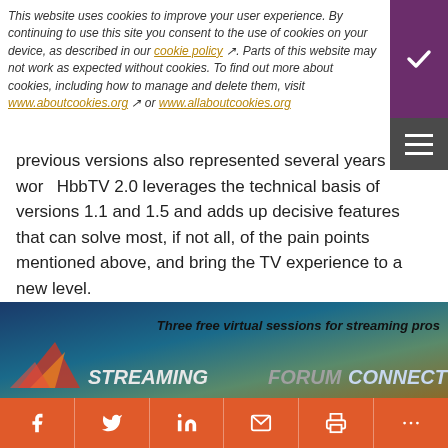This website uses cookies to improve your user experience. By continuing to use this site you consent to the use of cookies on your device, as described in our cookie policy. Parts of this website may not work as expected without cookies. To find out more about cookies, including how to manage and delete them, visit www.aboutcookies.org or www.allaboutcookies.org
previous versions also represented several years of work. HbbTV 2.0 leverages the technical basis of versions 1.1 and 1.5 and adds up decisive features that can solve most, if not all, of the pain points mentioned above, and bring the TV experience to a new level.
Web Stack Evolution
Many observers used to say that HbbTV was outdated in terms of web technologies it integrated. That was somewhat true, as HbbTV 1.5 still mandates the old HTML4/DOM2/CSS2 family, not even mentioning the CE-HTML tags that have been added to the mix. But version 2.0 intends to propel HbbTV into modernity: HTML5/DOM3 and
[Figure (infographic): Streaming Forum Connect advertisement banner with logo and tagline: Three free virtual sessions for streaming pros]
Social share bar with Facebook, Twitter, LinkedIn, Email, Print, and More buttons